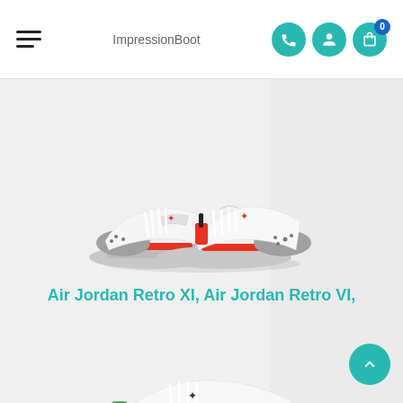ImpressionBoot
[Figure (photo): Air Jordan Retro sneakers - white with red accents and cement grey pattern, two shoes displayed side by side]
Air Jordan Retro XI, Air Jordan Retro VI,
[Figure (photo): Air Jordan sneakers - white with green accents and cement grey pattern, partially visible at bottom of page]